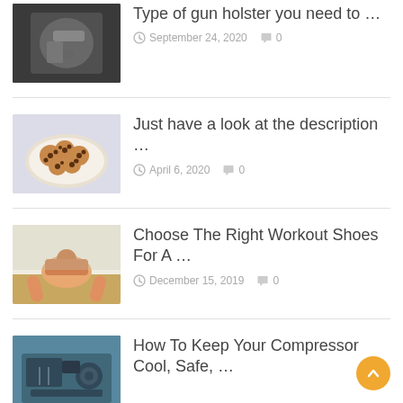[Figure (photo): Person wearing a gun holster on their belt]
Type of gun holster you need to …
September 24, 2020  0
[Figure (photo): Plate of chocolate chip cookies]
Just have a look at the description …
April 6, 2020  0
[Figure (photo): Person doing push-ups on a wooden floor]
Choose The Right Workout Shoes For A …
December 15, 2019  0
[Figure (photo): Industrial air compressor machine]
How To Keep Your Compressor Cool, Safe, …